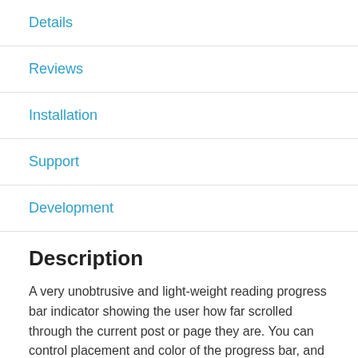Details
Reviews
Installation
Support
Development
Description
A very unobtrusive and light-weight reading progress bar indicator showing the user how far scrolled through the current post or page they are. You can control placement and color of the progress bar, and you can choose whether it includes just the main content or also the comments.